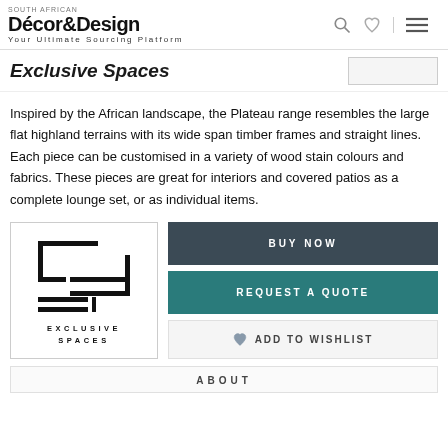Décor&Design — Your Ultimate Sourcing Platform
Exclusive Spaces
Inspired by the African landscape, the Plateau range resembles the large flat highland terrains with its wide span timber frames and straight lines. Each piece can be customised in a variety of wood stain colours and fabrics. These pieces are great for interiors and covered patios as a complete lounge set, or as individual items.
[Figure (logo): Exclusive Spaces brand logo — geometric square bracket shapes forming a stylized 'ES' mark, with text 'EXCLUSIVE SPACES' below]
BUY NOW
REQUEST A QUOTE
ADD TO WISHLIST
ABOUT